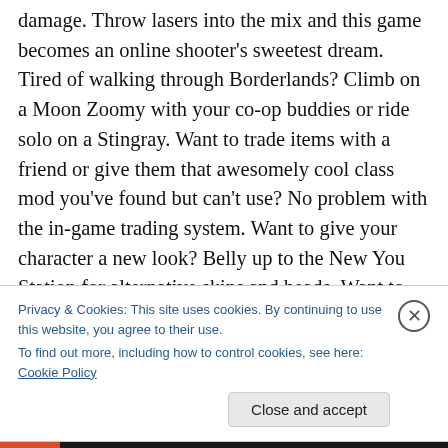damage. Throw lasers into the mix and this game becomes an online shooter's sweetest dream. Tired of walking through Borderlands? Climb on a Moon Zoomy with your co-op buddies or ride solo on a Stingray. Want to trade items with a friend or give them that awesomely cool class mod you've found but can't use? No problem with the in-game trading system. Want to give your character a new look? Belly up to the New You Station for alternative skins and heads. Want to try a different avatar? You have the ability to have up to eight different character saves without losing any game progression on any of
Privacy & Cookies: This site uses cookies. By continuing to use this website, you agree to their use.
To find out more, including how to control cookies, see here: Cookie Policy